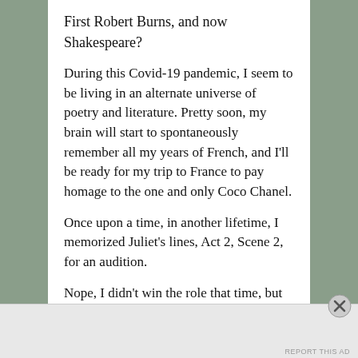First Robert Burns, and now Shakespeare?
During this Covid-19 pandemic, I seem to be living in an alternate universe of poetry and literature. Pretty soon, my brain will start to spontaneously remember all my years of French, and I'll be ready for my trip to France to pay homage to the one and only Coco Chanel.
Once upon a time, in another lifetime, I memorized Juliet's lines, Act 2, Scene 2, for an audition.
Nope, I didn't win the role that time, but the words have never left me.
It's a bit of a cliche considering my name, but a rose is a rose is a rose, according to Gertrude Stein.
…
Advertisements